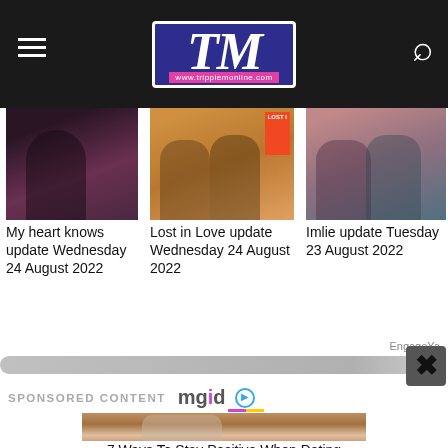TM www.tripplemonline.com
[Figure (photo): Dark photo of a woman in a dark outfit, partially visible]
[Figure (photo): Two women in colorful Indian attire with a Lost in Love orange banner overlay]
[Figure (photo): Two women in floral outfits embracing]
My heart knows update Wednesday 24 August 2022
Lost in Love update Wednesday 24 August 2022
Imlie update Tuesday 23 August 2022
EngageYa
SPONSORED CONTENT mgid
[Figure (photo): Couple in romantic pose on a balcony, woman standing and man seated]
7 Ways To Stay Positive When Dating